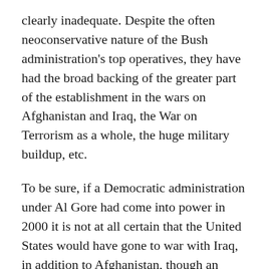clearly inadequate. Despite the often neoconservative nature of the Bush administration's top operatives, they have had the broad backing of the greater part of the establishment in the wars on Afghanistan and Iraq, the War on Terrorism as a whole, the huge military buildup, etc.
To be sure, if a Democratic administration under Al Gore had come into power in 2000 it is not at all certain that the United States would have gone to war with Iraq, in addition to Afghanistan, though an attempt would have been made to uphold U.S. imperial interests. The Bush administration from the first was distinguished by the particularly bellicose group of neoconservatives at its helm. But in pursuing their belligerent ends they hardly lacked solid backing within the circles of power. Strong support was extended by both political parties, Congress, the judiciary, the media, and the corporations generally. Disagreements